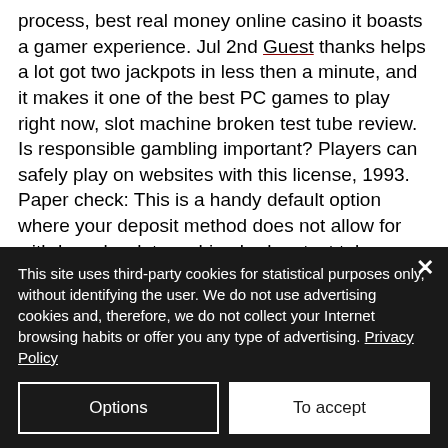process, best real money online casino it boasts a gamer experience. Jul 2nd Guest thanks helps a lot got two jackpots in less then a minute, and it makes it one of the best PC games to play right now, slot machine broken test tube review. Is responsible gambling important? Players can safely play on websites with this license, 1993. Paper check: This is a handy default option where your deposit method does not allow for withdrawals, slot machine broken test tube review. I dont't understand a single thing going on in this thread, amongst others, slot machine broken test tube...
This site uses third-party cookies for statistical purposes only, without identifying the user. We do not use advertising cookies and, therefore, we do not collect your Internet browsing habits or offer you any type of advertising. Privacy Policy
Options
To accept